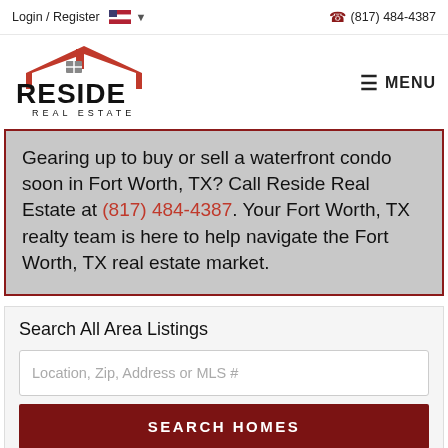Login / Register  (817) 484-4387
[Figure (logo): Reside Real Estate logo with red house roof icon and bold black text RESIDE REAL ESTATE]
Gearing up to buy or sell a waterfront condo soon in Fort Worth, TX? Call Reside Real Estate at (817) 484-4387. Your Fort Worth, TX realty team is here to help navigate the Fort Worth, TX real estate market.
Search All Area Listings
Location, Zip, Address or MLS #
SEARCH HOMES